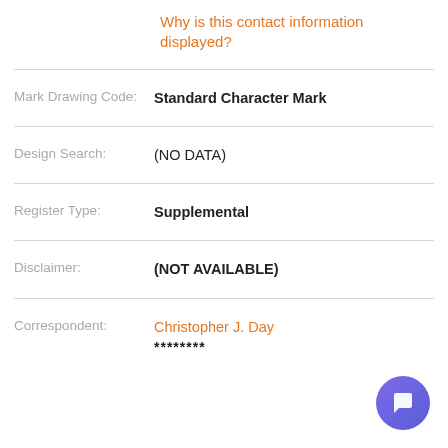Why is this contact information displayed?
| Mark Drawing Code: | Standard Character Mark |
| Design Search: | (NO DATA) |
| Register Type: | Supplemental |
| Disclaimer: | (NOT AVAILABLE) |
| Correspondent: | Christopher J. Day
******** |